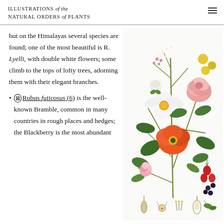ILLUSTRATIONS of the NATURAL ORDERS of PLANTS
but on the Himalayas several species are found; one of the most beautiful is R. Lyelli, with double white flowers; some climb to the tops of lofty trees, adorning them with their elegant branches.
⊗ Rubus futicosus (6) is the well-known Bramble, common in many countries in rough places and hedges; the Blackberry is the most abundant
[Figure (illustration): Botanical illustration showing a bouquet arrangement of Rosaceae plants including white flowers, pink roses, orange/red flowers, yellow button flowers, blackberries, and rose hips, with small detail drawings of plant parts at the bottom.]